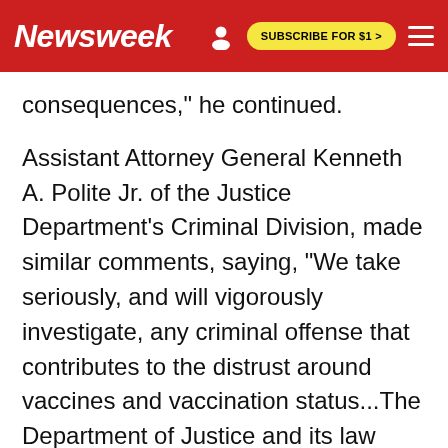Newsweek | SUBSCRIBE FOR $1 >
consequences," he continued.
Assistant Attorney General Kenneth A. Polite Jr. of the Justice Department's Criminal Division, made similar comments, saying, "We take seriously, and will vigorously investigate, any criminal offense that contributes to the distrust around vaccines and vaccination status...The Department of Justice and its law enforcement partners are committed to protecting the American people from these offenses during this national emergency."